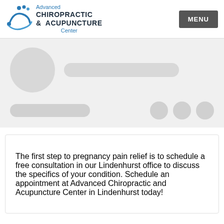[Figure (logo): Advanced Chiropractic & Acupuncture Center logo with blue figure and dots, plus MENU button in top-right]
[Figure (screenshot): Skeleton/placeholder loading UI with a gray circle (avatar), a gray rounded bar, a medium gray pill-shaped bar, and three small gray circles]
The first step to pregnancy pain relief is to schedule a free consultation in our Lindenhurst office to discuss the specifics of your condition. Schedule an appointment at Advanced Chiropractic and Acupuncture Center in Lindenhurst today!